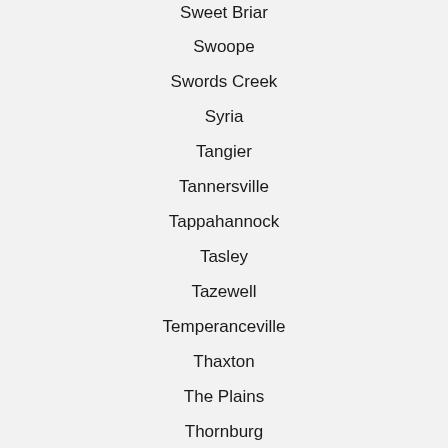Sweet Briar
Swoope
Swords Creek
Syria
Tangier
Tannersville
Tappahannock
Tasley
Tazewell
Temperanceville
Thaxton
The Plains
Thornburg